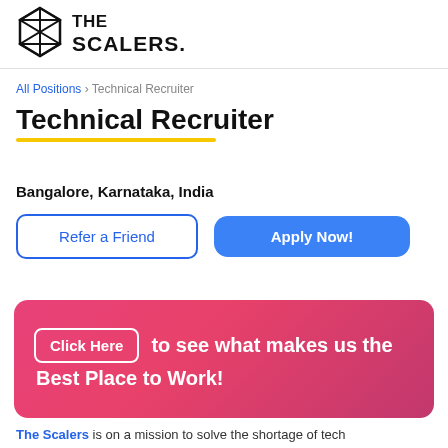[Figure (logo): The Scalers logo with geometric diamond icon and bold text THE SCALERS]
All Positions › Technical Recruiter
Technical Recruiter
Bangalore, Karnataka, India
Refer a Friend   Apply Now!
[Figure (infographic): Pink gradient banner with 'Click Here' button and text 'to see what makes us the Best Place to Work!']
The Scalers is on a mission to solve the shortage of tech